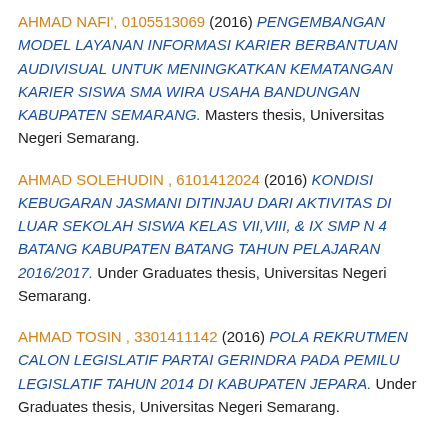AHMAD NAFI', 0105513069 (2016) PENGEMBANGAN MODEL LAYANAN INFORMASI KARIER BERBANTUAN AUDIVISUAL UNTUK MENINGKATKAN KEMATANGAN KARIER SISWA SMA WIRA USAHA BANDUNGAN KABUPATEN SEMARANG. Masters thesis, Universitas Negeri Semarang.
AHMAD SOLEHUDIN , 6101412024 (2016) KONDISI KEBUGARAN JASMANI DITINJAU DARI AKTIVITAS DI LUAR SEKOLAH SISWA KELAS VII,VIII, & IX SMP N 4 BATANG KABUPATEN BATANG TAHUN PELAJARAN 2016/2017. Under Graduates thesis, Universitas Negeri Semarang.
AHMAD TOSIN , 3301411142 (2016) POLA REKRUTMEN CALON LEGISLATIF PARTAI GERINDRA PADA PEMILU LEGISLATIF TAHUN 2014 DI KABUPATEN JEPARA. Under Graduates thesis, Universitas Negeri Semarang.